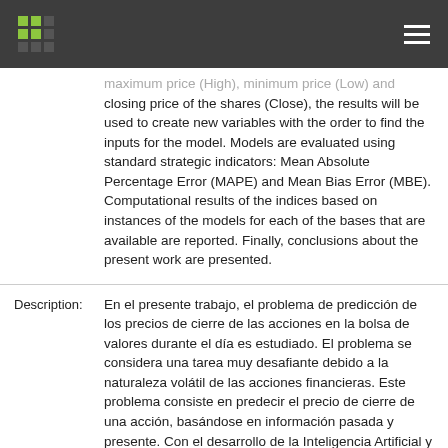Header bar with logo and navigation menu
maximum price (High), minimum price (Low) and closing price of the shares (Close), the results will be used to create new variables with the order to find the inputs for the model. Models are evaluated using standard strategic indicators: Mean Absolute Percentage Error (MAPE) and Mean Bias Error (MBE). Computational results of the indices based on instances of the models for each of the bases that are available are reported. Finally, conclusions about the present work are presented.
Description: En el presente trabajo, el problema de predicción de los precios de cierre de las acciones en la bolsa de valores durante el día es estudiado. El problema se considera una tarea muy desafiante debido a la naturaleza volátil de las acciones financieras. Este problema consiste en predecir el precio de cierre de una acción, basándose en información pasada y presente. Con el desarrollo de la Inteligencia Artificial y el aumento de las